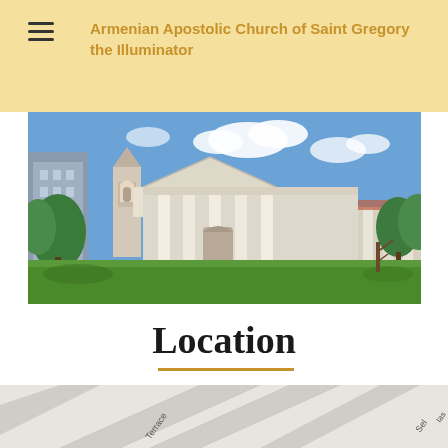Armenian Apostolic Church of Saint Gregory the Illuminator
[Figure (photo): Exterior photograph of the Armenian Apostolic Church of Saint Gregory the Illuminator, showing a white neoclassical building with columns, triangular pediment, green lawn, and surrounding trees under a blue sky.]
Location
[Figure (map): Partial street map showing the area near the church, with street labels including Terrace, Sel, Ias, Prins, and -olen St visible, and a smiley face map marker icon.]